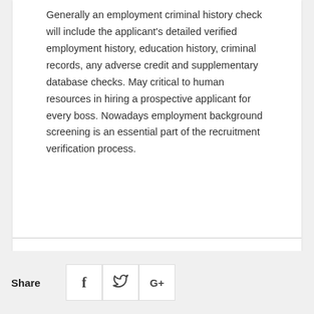Generally an employment criminal history check will include the applicant's detailed verified employment history, education history, criminal records, any adverse credit and supplementary database checks. May critical to human resources in hiring a prospective applicant for every boss. Nowadays employment background screening is an essential part of the recruitment verification process.
Share